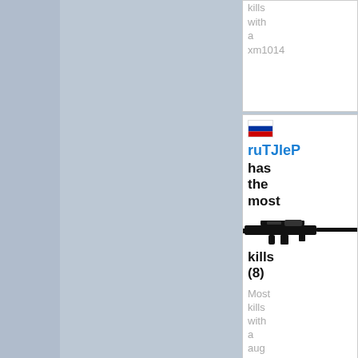kills with a xm1014
[Figure (screenshot): Russian flag icon]
ruTJleP has the most kills (8) Most kills with a aug
[Figure (illustration): AUG assault rifle silhouette image]
[Figure (screenshot): USSR/Soviet flag icon]
}| {yK-PyKo}| {oneH has the most